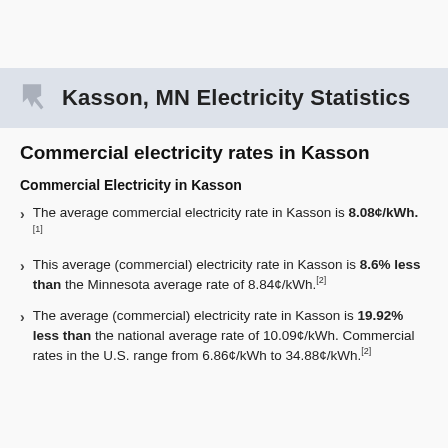Kasson, MN Electricity Statistics
Commercial electricity rates in Kasson
Commercial Electricity in Kasson
The average commercial electricity rate in Kasson is 8.08¢/kWh.[1]
This average (commercial) electricity rate in Kasson is 8.6% less than the Minnesota average rate of 8.84¢/kWh.[2]
The average (commercial) electricity rate in Kasson is 19.92% less than the national average rate of 10.09¢/kWh. Commercial rates in the U.S. range from 6.86¢/kWh to 34.88¢/kWh.[2]